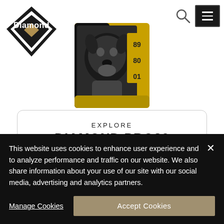[Figure (logo): Diamond Pet Foods logo — diamond shape with 'Diamond' text, tan/gold accent diamond inside black outline]
[Figure (photo): Diamond PRO89 dog food bag — yellow and black packaging featuring a black and white photo of a dog (pit bull type), with numbers 89, 80, 01 visible on the side]
EXPLORE
DIAMOND PRO89
FOR DOGS
This website uses cookies to enhance user experience and to analyze performance and traffic on our website. We also share information about your use of our site with our social media, advertising and analytics partners.
Manage Cookies
Accept Cookies